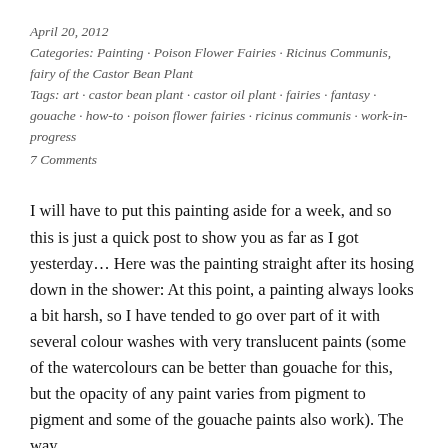April 20, 2012
Categories: Painting · Poison Flower Fairies · Ricinus Communis, fairy of the Castor Bean Plant
Tags: art · castor bean plant · castor oil plant · fairies · fantasy · gouache · how-to · poison flower fairies · ricinus communis · work-in-progress
7 Comments
I will have to put this painting aside for a week, and so this is just a quick post to show you as far as I got yesterday... Here was the painting straight after its hosing down in the shower: At this point, a painting always looks a bit harsh, so I have tended to go over part of it with several colour washes with very translucent paints (some of the watercolours can be better than gouache for this, but the opacity of any paint varies from pigment to pigment and some of the gouache paints also work). The way